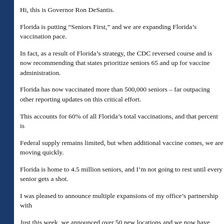Hi, this is Governor Ron DeSantis.
Florida is putting “Seniors First,” and we are expanding Florida’s vaccination pace.
In fact, as a result of Florida’s strategy, the CDC reversed course and is now recommending that states prioritize seniors 65 and up for vaccine administration.
Florida has now vaccinated more than 500,000 seniors – far outpacing other reporting updates on this critical effort.
This accounts for 60% of all Florida’s total vaccinations, and that percent is
Federal supply remains limited, but when additional vaccine comes, we are moving quickly.
Florida is home to 4.5 million seniors, and I’m not going to rest until every senior gets a shot.
I was pleased to announce multiple expansions of my office’s partnership with
Just this week, we announced over 50 new locations and we now have more locations offering vaccines to seniors in their community, and there’s more to come.
In addition to Publix, we have been working collaboratively at all levels to